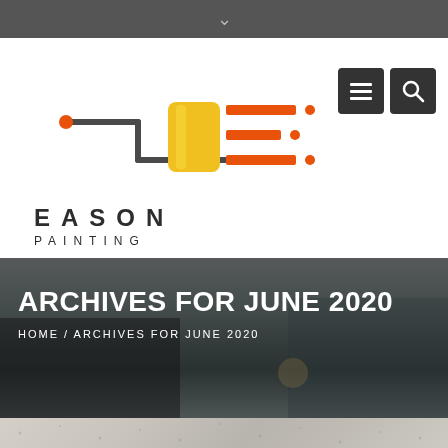▾
[Figure (logo): Eason Painting logo: paint roller forming a stylized letter E in orange and yellow with dark handle, followed by text EASON PAINTING]
ARCHIVES FOR JUNE 2020
HOME / ARCHIVES FOR JUNE 2020
[Figure (photo): Partial view of a textured painted wall or ceiling surface, light beige/grey color]